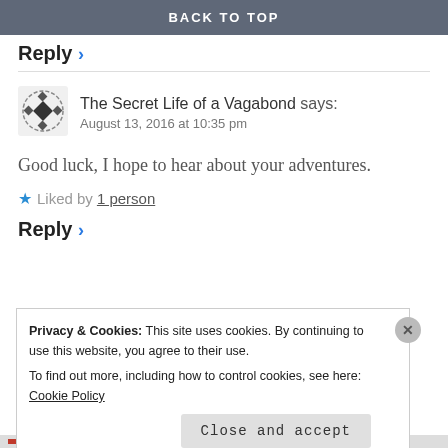BACK TO TOP
Reply ›
The Secret Life of a Vagabond says:
August 13, 2016 at 10:35 pm
Good luck, I hope to hear about your adventures.
★ Liked by 1 person
Reply ›
Privacy & Cookies: This site uses cookies. By continuing to use this website, you agree to their use.
To find out more, including how to control cookies, see here: Cookie Policy
Close and accept